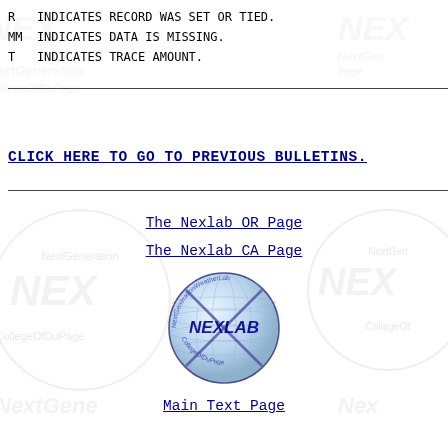R   INDICATES RECORD WAS SET OR TIED.
MM  INDICATES DATA IS MISSING.
T   INDICATES TRACE AMOUNT.
CLICK HERE TO GO TO PREVIOUS BULLETINS.
The Nexlab OR Page
The Nexlab CA Page
[Figure (logo): Nexlab NextGenerationWeatherLab CollegeOfDuPage circular logo with globe and NEXLAB text]
Main Text Page